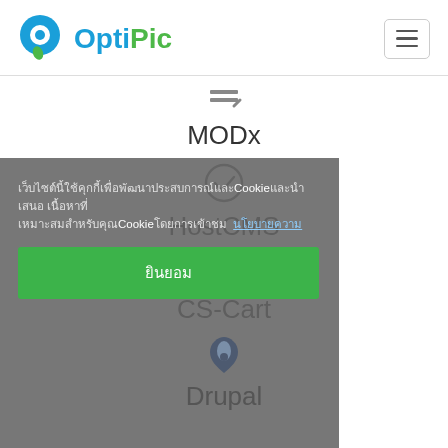OptiPic
MODx
[Figure (illustration): Checkmark circle icon for HostCMS]
HostCMS
[Figure (logo): CS-Cart grid/windows icon]
CS-Cart
[Figure (logo): Drupal water drop icon]
Drupal
เว็บไซต์นี้ใช้คุกกี้เพื่อพัฒนาประสบการณ์และCookieและนำเสนอ เนื้อหาที่เหมาะสมสำหรับคุณCookieโดยการเข้าชม นโยบายความ
ยินยอม